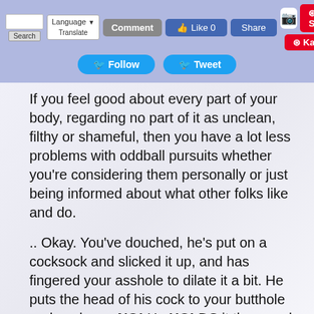[Figure (screenshot): Website toolbar with Search box, Language/Translate buttons, Comment button, Facebook Like (0) and Share buttons, Twitter Follow and Tweet buttons, Instagram icon, Pinterest Save and Karene buttons on a blue-purple background]
If you feel good about every part of your body, regarding no part of it as unclean, filthy or shameful, then you have a lot less problems with oddball pursuits whether you're considering them personally or just being informed about what other folks like and do.
.. Okay. You've douched, he's put on a cocksock and slicked it up, and has fingered your asshole to dilate it a bit. He puts the head of his cock to your butthole and pushes .. NO! He HOLDS it there and waits for your hole to begin relaxing enough for the head to slip between the two rings of muscle. You can alternately clench and release your ass